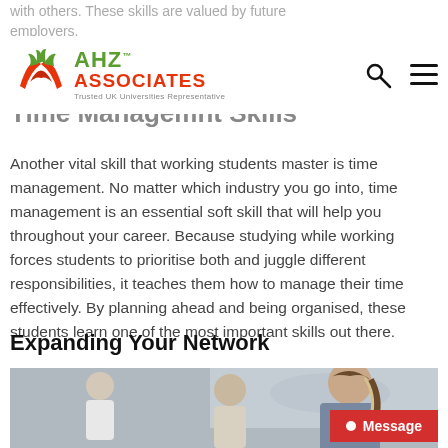with others. These skills are valued by future employers.
[Figure (logo): AHZ Associates logo with red bird/hands icon, green AHZ text, red ASSOCIATES text, tagline: Trusted UK Universities Representative]
Time Management Skills
Another vital skill that working students master is time management. No matter which industry you go into, time management is an essential soft skill that will help you throughout your career. Because studying while working forces students to prioritise both and juggle different responsibilities, it teaches them how to manage their time effectively. By planning ahead and being organised, these students learn one of the most important skills out there.
Expanding Your Network
[Figure (photo): Photo of business professionals in an office setting, with a woman in the foreground looking down at something, and colleagues in the background near a world map display]